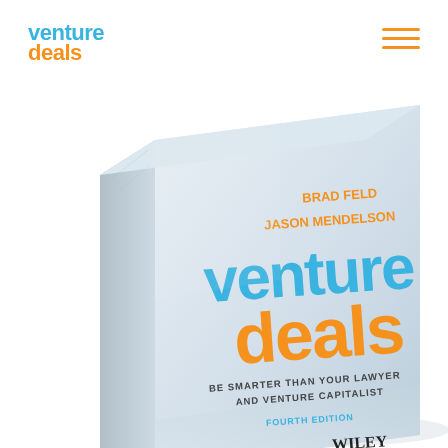[Figure (logo): Venture Deals logo top-left with 'venture' in blue and 'deals' in orange]
[Figure (other): Hamburger menu icon (three horizontal orange lines) top-right]
[Figure (photo): Photo of the Venture Deals Fourth Edition book cover by Brad Feld and Jason Mendelson, published by Wiley. The cover shows 'venture' in blue and 'deals' in orange large text, subtitle 'Be Smarter Than Your Lawyer And Venture Capitalist', FOURTH EDITION in blue, and WILEY at bottom.]